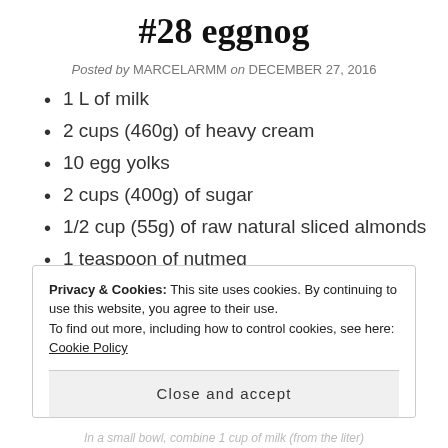#28 eggnog
Posted by MARCELARMM on DECEMBER 27, 2016
1 L of milk
2 cups (460g) of heavy cream
10 egg yolks
2 cups (400g) of sugar
1/2 cup (55g) of raw natural sliced almonds
1 teaspoon of nutmeg
1 teaspoon of vanilla extract
1 cinnamon stick
Privacy & Cookies: This site uses cookies. By continuing to use this website, you agree to their use.
To find out more, including how to control cookies, see here: Cookie Policy
Close and accept
In a small bowl, combine 1 cup of milk (from the liter)